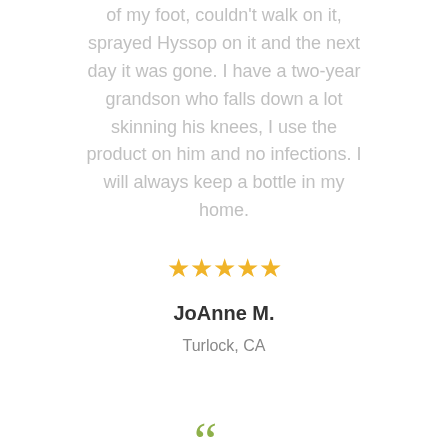of my foot, couldn't walk on it, sprayed Hyssop on it and the next day it was gone. I have a two-year grandson who falls down a lot skinning his knees, I use the product on him and no infections. I will always keep a bottle in my home.
[Figure (other): Five gold/yellow star rating icons]
JoAnne M.
Turlock, CA
[Figure (other): Green double opening quotation mark symbol]
I've been praying for a product that can help with